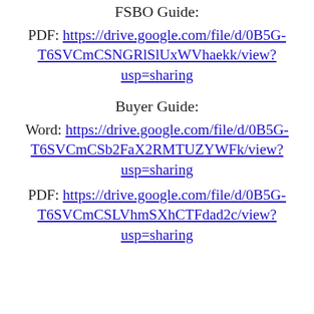FSBO Guide:
PDF: https://drive.google.com/file/d/0B5G-T6SVCmCSNGRlSlUxWVhaekk/view?usp=sharing
Buyer Guide:
Word: https://drive.google.com/file/d/0B5G-T6SVCmCSb2FaX2RMTUZYWFk/view?usp=sharing
PDF: https://drive.google.com/file/d/0B5G-T6SVCmCSLVhmSXhCTFdad2c/view?usp=sharing